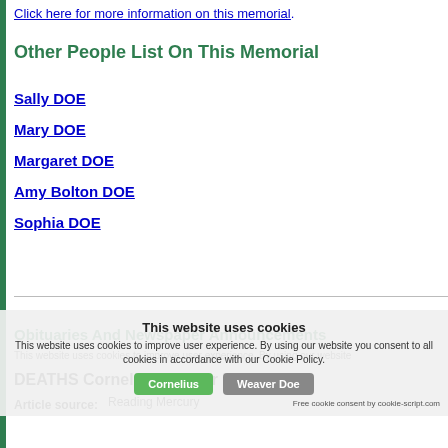Click here for more information on this memorial.
Other People List On This Memorial
Sally DOE
Mary DOE
Margaret DOE
Amy Bolton DOE
Sophia DOE
Obituaries And Newspaper Announcements
This website uses cookies to improve user experience. By using our website you consent to all cookies in accordance with our Cookie Policy.
DEATHS Cornelius Weaver Doe
Article source:    Reading Mercury
Free cookie consent by cookie-script.com